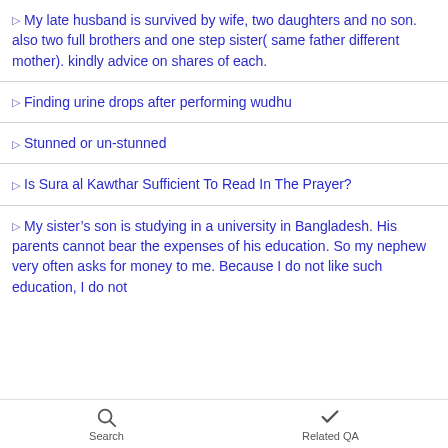My late husband is survived by wife, two daughters and no son. also two full brothers and one step sister( same father different mother). kindly advice on shares of each.
Finding urine drops after performing wudhu
Stunned or un-stunned
Is Sura al Kawthar Sufficient To Read In The Prayer?
My sister’s son is studying in a university in Bangladesh. His parents cannot bear the expenses of his education. So my nephew very often asks for money to me. Because I do not like such education. I do not
Search    Related QA